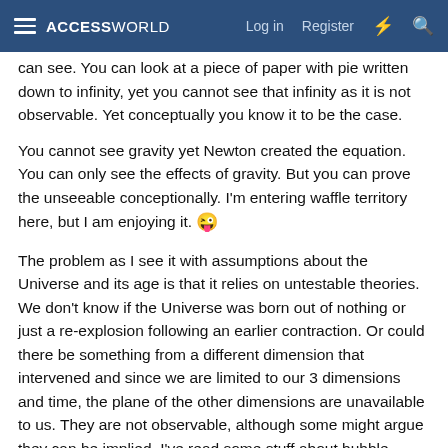ACCESSWORLD  Log in  Register
can see. You can look at a piece of paper with pie written down to infinity, yet you cannot see that infinity as it is not observable. Yet conceptually you know it to be the case.
You cannot see gravity yet Newton created the equation. You can only see the effects of gravity. But you can prove the unseeable conceptionally. I'm entering waffle territory here, but I am enjoying it. 😜
The problem as I see it with assumptions about the Universe and its age is that it relies on untestable theories. We don't know if the Universe was born out of nothing or just a re-explosion following an earlier contraction. Or could there be something from a different dimension that intervened and since we are limited to our 3 dimensions and time, the plane of the other dimensions are unavailable to us. They are not observable, although some might argue they can be implied. I've read some stuff about bubble multi-verses where a membrane from one collides with another Universe and it causes some effect. We